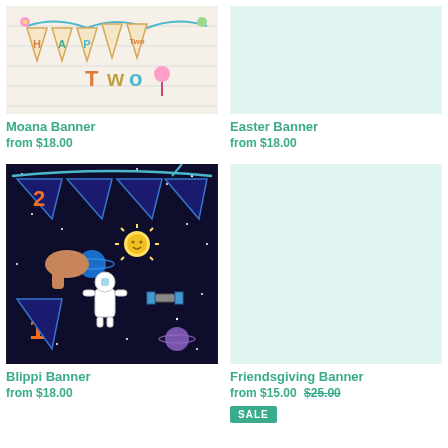[Figure (photo): Moana birthday banner with colorful pennant flags on a white brick background]
Moana Banner
from $18.00
[Figure (photo): Easter Banner product image placeholder in light teal]
Easter Banner
from $18.00
[Figure (photo): Blippi space-themed banner with astronaut, planets, sun on dark background, hand holding banner]
Blippi Banner
from $18.00
[Figure (photo): Friendsgiving Banner product image placeholder in light teal]
Friendsgiving Banner
from $15.00  $25.00
SALE